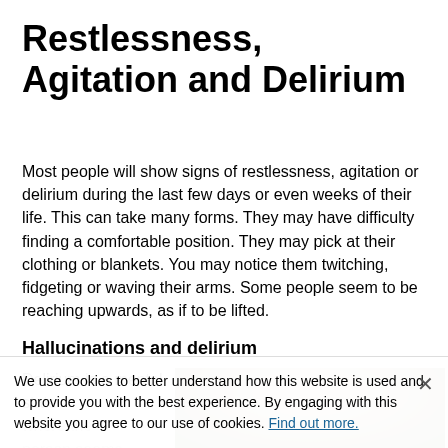Restlessness, Agitation and Delirium
Most people will show signs of restlessness, agitation or delirium during the last few days or even weeks of their life. This can take many forms. They may have difficulty finding a comfortable position. They may pick at their clothing or blankets. You may notice them twitching, fidgeting or waving their arms. Some people seem to be reaching upwards, as if to be lifted.
Hallucinations and delirium
Delirium is a mental state where the person seems confused or dis-
[Figure (photo): Photo of a person, partially visible, with green background foliage]
We use cookies to better understand how this website is used and to provide you with the best experience. By engaging with this website you agree to our use of cookies. Find out more.